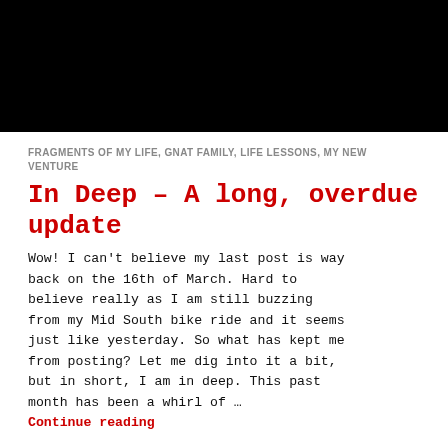[Figure (photo): Black rectangular hero image at top of blog post]
FRAGMENTS OF MY LIFE, GNAT FAMILY, LIFE LESSONS, MY NEW VENTURE
In Deep – A long, overdue update
Wow! I can't believe my last post is way back on the 16th of March. Hard to believe really as I am still buzzing from my Mid South bike ride and it seems just like yesterday. So what has kept me from posting? Let me dig into it a bit, but in short, I am in deep. This past month has been a whirl of …
Continue reading